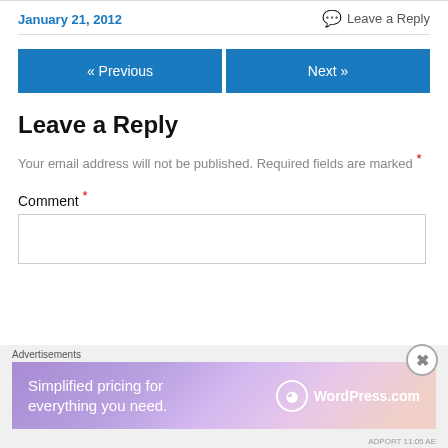January 21, 2012
Leave a Reply
« Previous
Next »
Leave a Reply
Your email address will not be published. Required fields are marked *
Comment *
Advertisements
[Figure (other): WordPress.com advertisement banner: 'Simplified pricing for everything you need.' with WordPress.com logo]